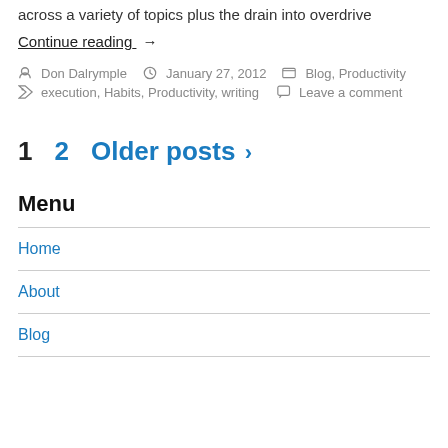across a variety of topics plus the drain into overdrive
Continue reading →
Don Dalrymple   January 27, 2012   Blog, Productivity
execution, Habits, Productivity, writing   Leave a comment
1   2   Older posts >
Menu
Home
About
Blog